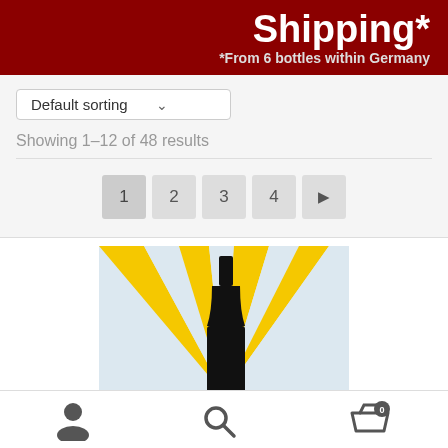[Figure (infographic): Dark red banner with white bold text reading 'Shipping*' and subtitle '*From 6 bottles within Germany']
Default sorting
Showing 1–12 of 48 results
1  2  3  4  ▶
[Figure (illustration): Wine bottle silhouette on light blue background with yellow sunburst rays pattern]
[Figure (infographic): Bottom navigation bar with user/account icon, search icon, and shopping basket icon with badge showing 0]